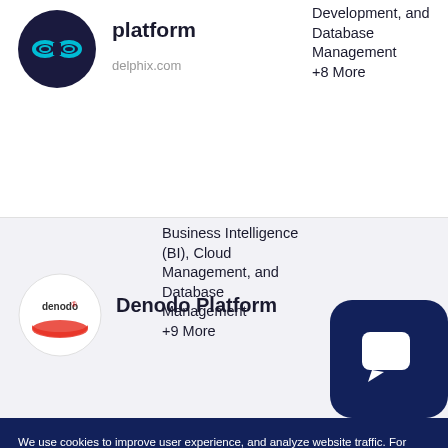[Figure (logo): Delphix logo - dark circle with cyan infinity/double-ring symbol]
platform
delphix.com
Development, and Database Management +8 More
[Figure (logo): Denodo logo - white circle with Denodo brand text and red swoosh underneath]
Denodo Platform
Business Intelligence (BI), Cloud Management, and Database Management +9 More
[Figure (illustration): Dark navy rounded square with white chat/message bubble icon]
We use cookies to improve user experience, and analyze website traffic. For these reasons, we may share your site usage data with our social and analytics partners. To read more about your options, view our Privacy Policy.
Reject
Accept